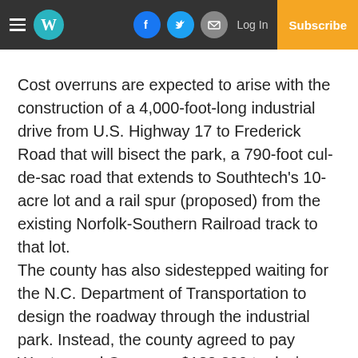W [logo] | Facebook | Twitter | Email | Log In | Subscribe
Cost overruns are expected to arise with the construction of a 4,000-foot-long industrial drive from U.S. Highway 17 to Frederick Road that will bisect the park, a 790-foot cul-de-sac road that extends to Southtech’s 10-acre lot and a rail spur (proposed) from the existing Norfolk-Southern Railroad track to that lot. The county has also sidestepped waiting for the N.C. Department of Transportation to design the roadway through the industrial park. Instead, the county agreed to pay Wooten and Company $183,300 to design the road in an effort “to speed this along.” Councilmember Southtech being considered